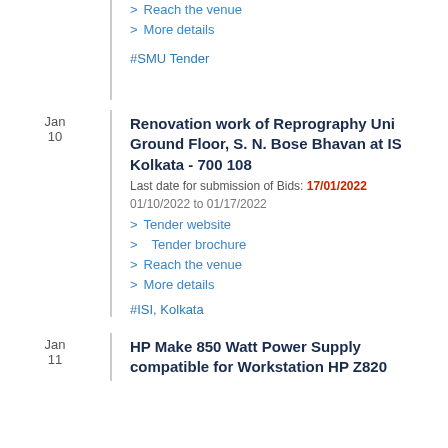> Reach the venue
> More details
#SMU Tender
Jan 10
Renovation work of Reprography Unit, Ground Floor, S. N. Bose Bhavan at ISI, Kolkata - 700 108
Last date for submission of Bids: 17/01/2022
01/10/2022 to 01/17/2022
> Tender website
> Tender brochure
> Reach the venue
> More details
#ISI, Kolkata
Jan 11
HP Make 850 Watt Power Supply compatible for Workstation HP Z820